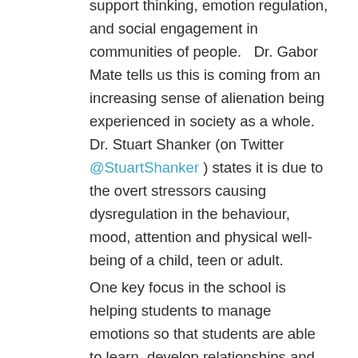support thinking, emotion regulation, and social engagement in communities of people.   Dr. Gabor Mate tells us this is coming from an increasing sense of alienation being experienced in society as a whole.  Dr. Stuart Shanker (on Twitter @StuartShanker ) states it is due to the overt stressors causing dysregulation in the behaviour, mood, attention and physical well-being of a child, teen or adult.
One key focus in the school is helping students to manage emotions so that students are able to learn, develop relationships and maintain friendships.  If students are going to be included in the social fabric of the school, they need to be able to make good choices around identifying their feelings, developing a bank of calm down strategies to use as needed,  to problem solve, repair relationships and come up with a plan for next time.